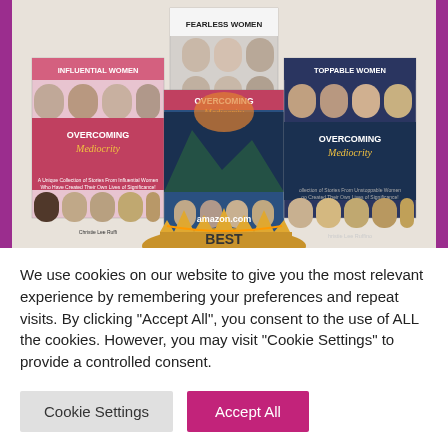[Figure (photo): Collage of book covers titled 'Fearless Women', 'Influential Women', 'Unstoppable Women', and multiple 'Overcoming Mediocrity' editions by Christie Lee Ruffino, shown with an Amazon.com Best Seller badge at the bottom, framed by a purple border.]
We use cookies on our website to give you the most relevant experience by remembering your preferences and repeat visits. By clicking “Accept All”, you consent to the use of ALL the cookies. However, you may visit “Cookie Settings” to provide a controlled consent.
Cookie Settings
Accept All